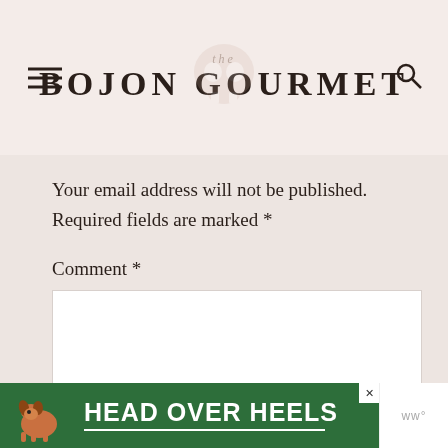the BOJON GOURMET
Your email address will not be published. Required fields are marked *
Comment *
[Figure (screenshot): Comment text area input box, empty, white background]
[Figure (infographic): Advertisement banner with green background showing a dog and text HEAD OVER HEELS with close button and wpp logo]